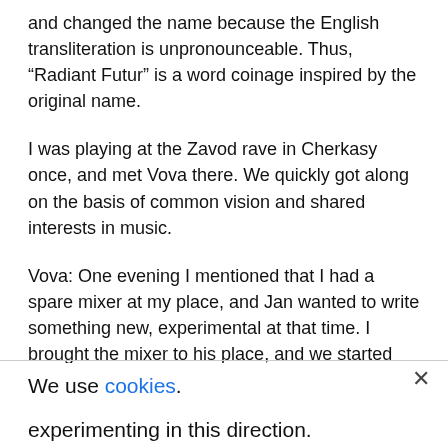and changed the name because the English transliteration is unpronounceable. Thus, “Radiant Futur” is a word coinage inspired by the original name.
I was playing at the Zavod rave in Cherkasy once, and met Vova there. We quickly got along on the basis of common vision and shared interests in music.
Vova: One evening I mentioned that I had a spare mixer at my place, and Jan wanted to write something new, experimental at that time. I brought the mixer to his place, and we started doing it together.
We use cookies.
experimenting in this direction.